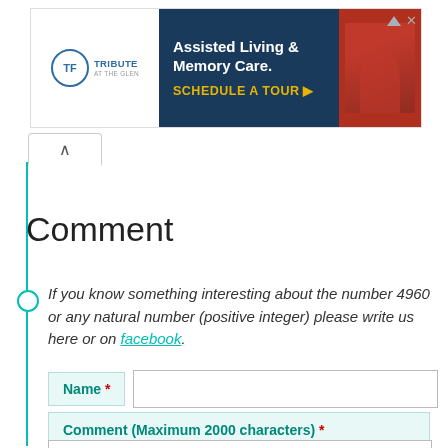[Figure (screenshot): Advertisement banner for Tribute at the Glen assisted living. Left section shows logo with circular icon and brand name. Middle section has dark navy background with text 'Assisted Living & Memory Care. SCHEDULE A TOUR ▶'. Right section shows a person in red shirt.]
Comment
If you know something interesting about the number 4960 or any natural number (positive integer) please write us here or on facebook.
Name *
Comment (Maximum 2000 characters) *